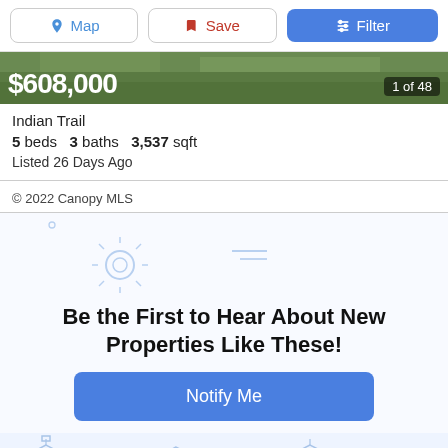Map | Save | Filter
[Figure (photo): Property listing image strip showing $608,000 price and '1 of 48' photo counter on a green/outdoor background]
Indian Trail
5 beds  3 baths  3,537 sqft
Listed 26 Days Ago
© 2022 Canopy MLS
[Figure (illustration): Decorative weather icons: sun, clouds, horizontal lines scattered across a light blue-white background]
Be the First to Hear About New Properties Like These!
[Figure (illustration): Blue outline house illustrations row at the bottom of the page]